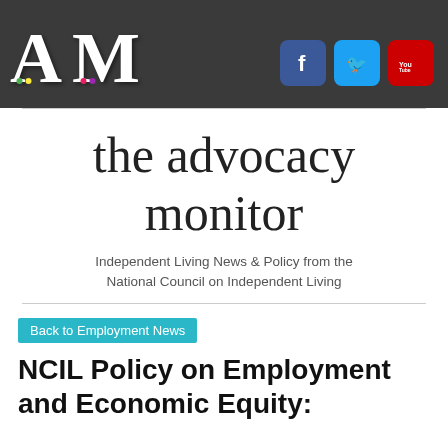[Figure (logo): Advocacy Monitor logo with large stylized AM letters with colored dots, on dark background, plus Facebook, Twitter, YouTube social media icons]
the advocacy monitor
Independent Living News & Policy from the National Council on Independent Living
Back to Employment News
NCIL Policy on Employment and Economic Equity: